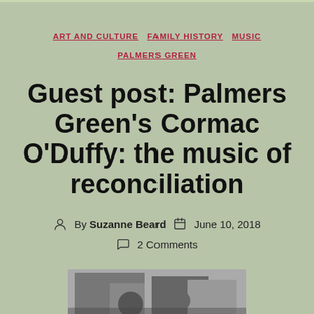ART AND CULTURE  FAMILY HISTORY  MUSIC  PALMERS GREEN
Guest post: Palmers Green's Cormac O'Duffy: the music of reconciliation
By Suzanne Beard  June 10, 2018  2 Comments
[Figure (photo): A black and white photograph partially visible at bottom of page]